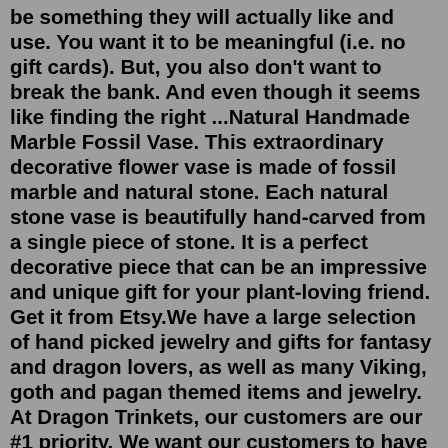be something they will actually like and use. You want it to be meaningful (i.e. no gift cards). But, you also don't want to break the bank. And even though it seems like finding the right ...Natural Handmade Marble Fossil Vase. This extraordinary decorative flower vase is made of fossil marble and natural stone. Each natural stone vase is beautifully hand-carved from a single piece of stone. It is a perfect decorative piece that can be an impressive and unique gift for your plant-loving friend. Get it from Etsy.We have a large selection of hand picked jewelry and gifts for fantasy and dragon lovers, as well as many Viking, goth and pagan themed items and jewelry. At Dragon Trinkets, our customers are our #1 priority. We want our customers to have a pleasant and safe shopping experience that will be filled with confidence and satisfaction.A T-shirt with a friendly reminder. PAMM Shop. The Pérez Art Museum Miami is a goldmine for gifts that any art lover will appreciate, with pouches and mugs that are works of art